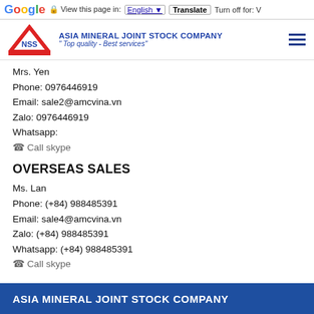Google Translate bar — View this page in: English | Translate | Turn off for: V
[Figure (logo): Asia Mineral Joint Stock Company logo with red triangle/house shape and NSS letters, company name in blue uppercase, tagline 'Top quality - Best services' in italic blue]
Mrs. Yen
Phone: 0976446919
Email: sale2@amcvina.vn
Zalo: 0976446919
Whatsapp:
☎ Call skype
OVERSEAS SALES
Ms. Lan
Phone: (+84) 988485391
Email: sale4@amcvina.vn
Zalo: (+84) 988485391
Whatsapp: (+84) 988485391
☎ Call skype
ASIA MINERAL JOINT STOCK COMPANY